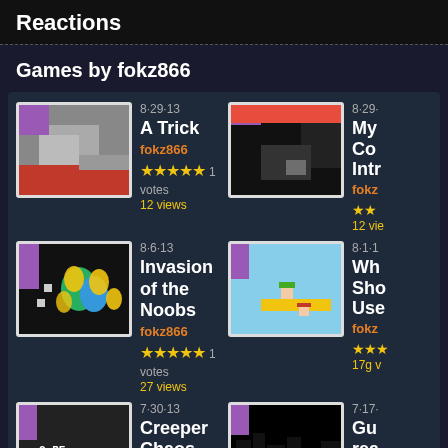Reactions
Games by fokz866
8·29·13 | A Trick | fokz866 | ★★★★★ 1 votes | 12 views
8·29· | My Co Intr | fokz | ★★ | 12 vie
8·6·13 | Invasion of the Noobs | fokz866 | ★★★★★ 1 votes | 27 views
8·1·1 | Wh Sho Use | fokz | ★★★ | 17g v
7·30·13 | Creeper Chaos | fokz866
7·17· | Gu rea | fokz